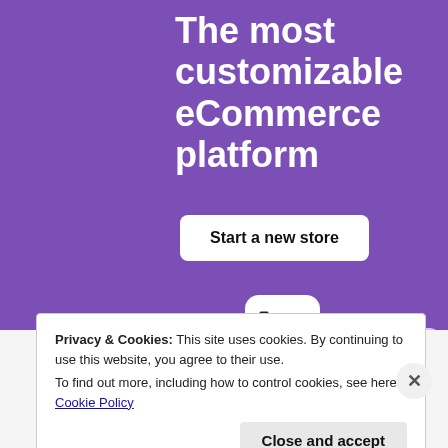The most customizable eCommerce platform
Start a new store
[Figure (illustration): Shopping cart icon in a white rounded square box on purple background]
Privacy & Cookies: This site uses cookies. By continuing to use this website, you agree to their use. To find out more, including how to control cookies, see here: Cookie Policy
Close and accept